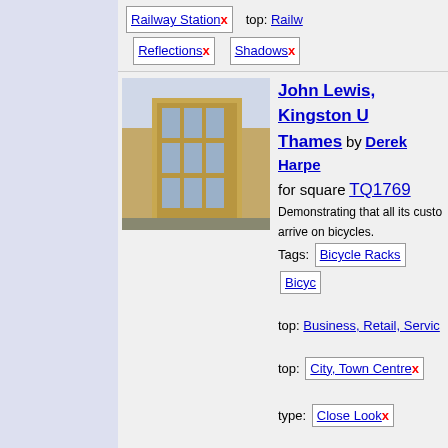Railway Station x  top: Railw...  Reflections x  Shadows x
John Lewis, Kingston upon Thames by Derek Harper for square TQ1769
Demonstrating that all its customers arrive on bicycles.
Tags: Bicycle Racks  Bicyc...
top: Business, Retail, Servic...
top: City, Town Centre x
type: Close Look x
Department Store x
Abandoned bikes by Jo... Salmon for square TQ2994
Tags: Bicycle x  Bicycle Ra...
Bicycle Stand x
top: Public Buildings and Sp...
Abandoned bike by John Salmon